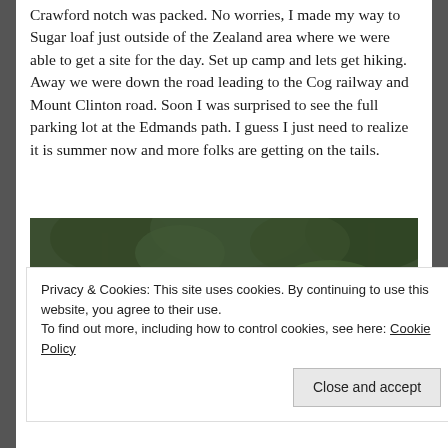Crawford notch was packed. No worries, I made my way to Sugar loaf just outside of the Zealand area where we were able to get a site for the day. Set up camp and lets get hiking. Away we were down the road leading to the Cog railway and Mount Clinton road. Soon I was surprised to see the full parking lot at the Edmands path. I guess I just need to realize it is summer now and more folks are getting on the tails.
[Figure (photo): Forest trail photo showing a dirt path winding through tall conifer trees with green undergrowth and dappled light.]
Privacy & Cookies: This site uses cookies. By continuing to use this website, you agree to their use.
To find out more, including how to control cookies, see here: Cookie Policy
Close and accept